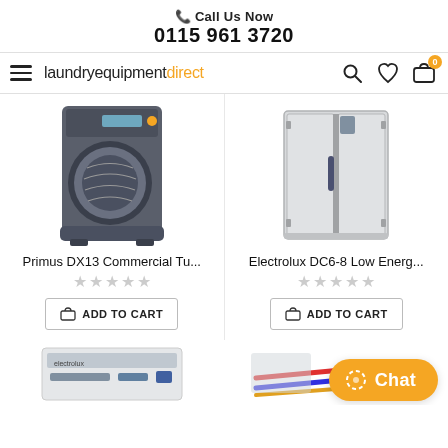📞 Call Us Now
0115 961 3720
[Figure (logo): laundryequipmentdirect logo with navigation icons (hamburger menu, search, wishlist, cart with badge 0)]
[Figure (photo): Primus DX13 Commercial Tumble Dryer product image]
[Figure (photo): Electrolux DC6-8 Low Energy cabinet product image]
Primus DX13 Commercial Tu...
Electrolux DC6-8 Low Energ...
ADD TO CART
ADD TO CART
[Figure (photo): Electrolux commercial laundry machine thumbnail at bottom left]
[Figure (photo): Unidentified laundry product thumbnail at bottom right]
Chat